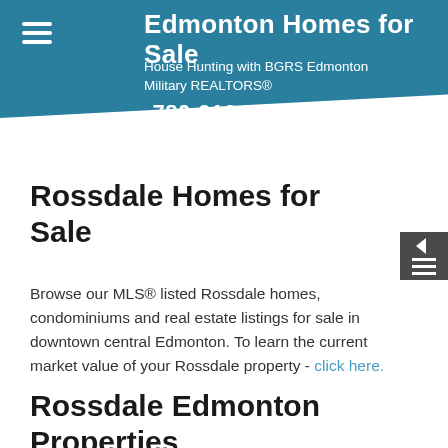Edmonton Homes for Sale
House Hunting with BGRS Edmonton Military REALTORS®
780-910-5179
contact by email
Rossdale Homes for Sale
Browse our MLS® listed Rossdale homes, condominiums and real estate listings for sale in downtown central Edmonton. To learn the current market value of your Rossdale property - click here.
Rossdale Edmonton Properties